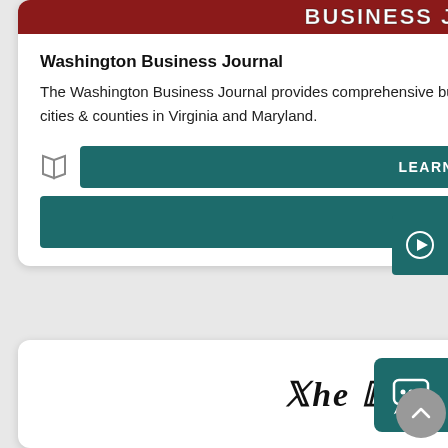[Figure (logo): Washington Business Journal red banner with white text 'BUSINESS JOURNAL']
Washington Business Journal
The Washington Business Journal provides comprehensive business coverage of Washington, D.C., and neighboring cities & counties in Virginia and Maryland.
[Figure (other): LEARN MORE button with book icon, teal background]
[Figure (other): VISIT button, teal background]
[Figure (other): Teal play button on right side]
[Figure (logo): The Evening Star logo in black serif italic font]
[Figure (other): Teal chat/message button on right side]
[Figure (other): Grey circular scroll-up button]